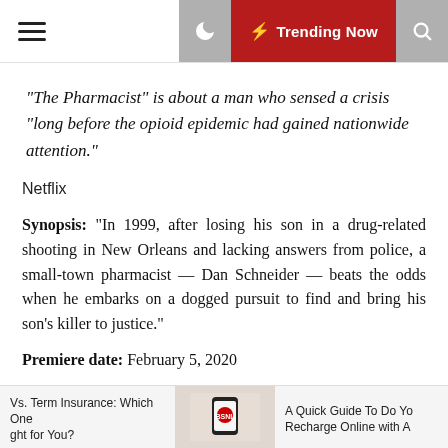Trending Now
“The Pharmacist” is about a man who sensed a crisis “long before the opioid epidemic had gained nationwide attention.”
Netflix
Synopsis: “In 1999, after losing his son in a drug-related shooting in New Orleans and lacking answers from police, a small-town pharmacist — Dan Schneider — beats the odds when he embarks on a dogged pursuit to find and bring his son’s killer to justice.”
Premiere date: February 5, 2020
“Locke and Key” is a new thriller series based on graphic
Vs. Term Insurance: Which One ght for You? | A Quick Guide To Do Yo Recharge Online with A